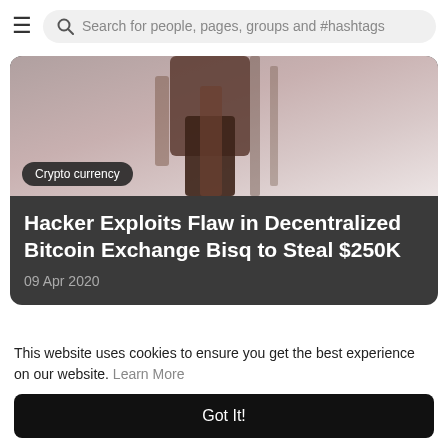Search for people, pages, groups and #hashtags
[Figure (photo): Close-up photo of a wooden/metal object, used as article thumbnail for a crypto currency news article]
Crypto currency
Hacker Exploits Flaw in Decentralized Bitcoin Exchange Bisq to Steal $250K
09 Apr 2020
Comments
This website uses cookies to ensure you get the best experience on our website. Learn More
Got It!